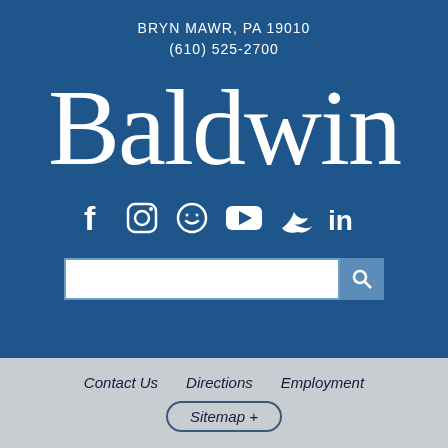BRYN MAWR, PA 19010
(610) 525-2700
[Figure (logo): Baldwin school logo — large white serif wordmark 'Baldwin' on dark blue background]
[Figure (infographic): Social media icons: Facebook, Instagram, Flik (smiley), YouTube, Twitter, LinkedIn — white on dark blue]
[Figure (screenshot): Search bar with white input field and blue search button with magnifying glass icon]
Contact Us   Directions   Employment
Sitemap +